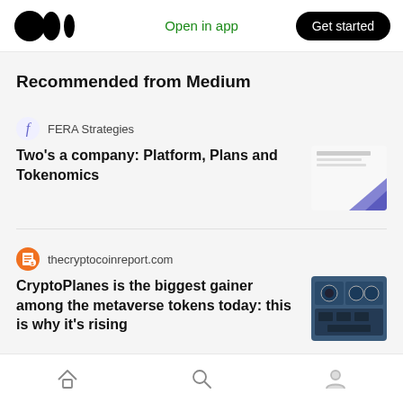Medium logo | Open in app | Get started
Recommended from Medium
FERA Strategies — Two's a company: Platform, Plans and Tokenomics
thecryptocoinreport.com — CryptoPlanes is the biggest gainer among the metaverse tokens today: this is why it's rising
Feed Every Lion
Home | Search | Profile